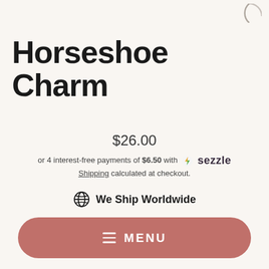[Figure (logo): Partial circular logo/icon in top right corner]
Horseshoe Charm
$26.00
or 4 interest-free payments of $6.50 with Sezzle
Shipping calculated at checkout.
We Ship Worldwide
Low stock - 2 items left
MENU